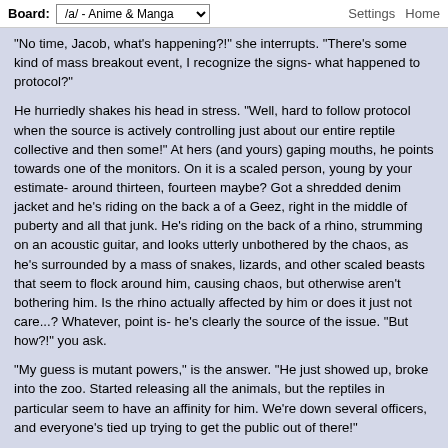Board: /a/ - Anime & Manga | Settings | Home
"No time, Jacob, what's happening?!" she interrupts. "There's some kind of mass breakout event, I recognize the signs- what happened to protocol?"
He hurriedly shakes his head in stress. "Well, hard to follow protocol when the source is actively controlling just about our entire reptile collective and then some!" At hers (and yours) gaping mouths, he points towards one of the monitors. On it is a scaled person, young by your estimate- around thirteen, fourteen maybe? Got a shredded denim jacket and he's riding on the back a of a Geez, right in the middle of puberty and all that junk. He's riding on the back of a rhino, strumming on an acoustic guitar, and looks utterly unbothered by the chaos, as he's surrounded by a mass of snakes, lizards, and other scaled beasts that seem to flock around him, causing chaos, but otherwise aren't bothering him. Is the rhino actually affected by him or does it just not care...? Whatever, point is- he's clearly the source of the issue. "But how?!" you ask.
"My guess is mutant powers," is the answer. "He just showed up, broke into the zoo. Started releasing all the animals, but the reptiles in particular seem to have an affinity for him. We're down several officers, and everyone's tied up trying to get the public out of there!"
(1/2)